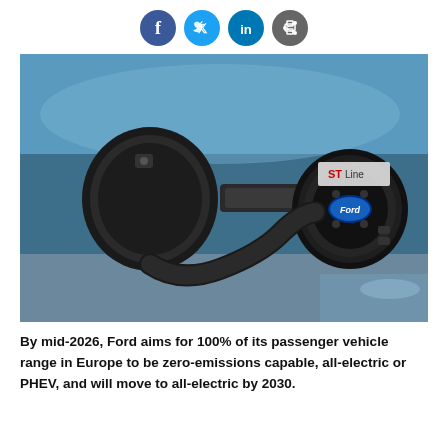[Figure (other): Social media sharing icons: Facebook (blue), Twitter (light blue), LinkedIn (blue), and a share/print icon (dark gray), displayed as circles in a row]
[Figure (photo): Close-up photograph of a Ford vehicle charging port with an EV charging cable plugged in. The car is blue with an 'ST Line' badge visible. The Ford oval logo is visible on the charging port cover.]
By mid-2026, Ford aims for 100% of its passenger vehicle range in Europe to be zero-emissions capable, all-electric or PHEV, and will move to all-electric by 2030.